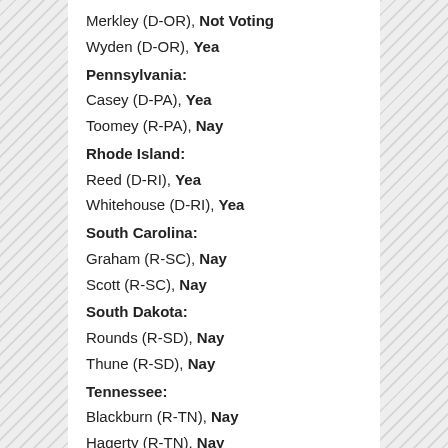Merkley (D-OR), Not Voting
Wyden (D-OR), Yea
Pennsylvania:
Casey (D-PA), Yea
Toomey (R-PA), Nay
Rhode Island:
Reed (D-RI), Yea
Whitehouse (D-RI), Yea
South Carolina:
Graham (R-SC), Nay
Scott (R-SC), Nay
South Dakota:
Rounds (R-SD), Nay
Thune (R-SD), Nay
Tennessee:
Blackburn (R-TN), Nay
Hagerty (R-TN), Nay
Texas:
Cornyn (R-TX), Nay
Cruz (R-TX), Nay
Utah:
Lee (R-UT), Nay